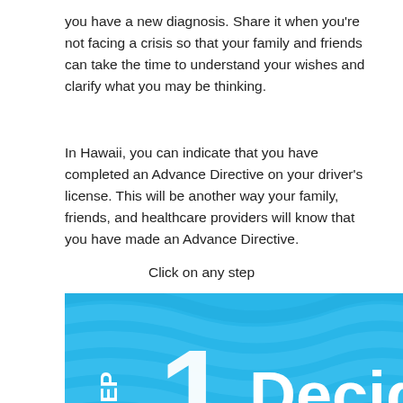you have a new diagnosis. Share it when you’re not facing a crisis so that your family and friends can take the time to understand your wishes and clarify what you may be thinking.
In Hawaii, you can indicate that you have completed an Advance Directive on your driver’s license. This will be another way your family, friends, and healthcare providers will know that you have made an Advance Directive.
Click on any step
[Figure (infographic): Blue banner with wavy texture showing STEP 1 and the word Decide in large white bold text]